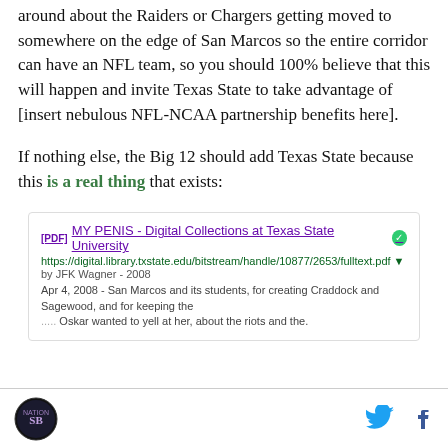around about the Raiders or Chargers getting moved to somewhere on the edge of San Marcos so the entire corridor can have an NFL team, so you should 100% believe that this will happen and invite Texas State to take advantage of [insert nebulous NFL-NCAA partnership benefits here].
If nothing else, the Big 12 should add Texas State because this is a real thing that exists:
[Figure (screenshot): A Google search result showing a PDF link titled 'MY PENIS - Digital Collections at Texas State University' with URL https://digital.library.txstate.edu/bitstream/handle/10877/2653/fulltext.pdf, by JFK Wagner - 2008, with snippet about San Marcos and students.]
Footer with site logo and Twitter/Facebook social icons